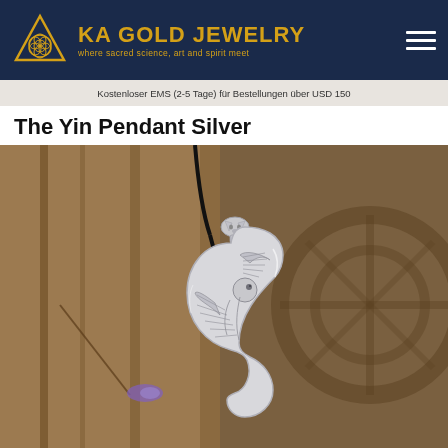KA GOLD JEWELRY — where sacred science, art and spirit meet
Kostenloser EMS (2-5 Tage) für Bestellungen über USD 150
The Yin Pendant Silver
[Figure (photo): Close-up photo of a silver Yin pendant necklace on a black cord, showing a detailed bird/phoenix figure inside a yin-yang curved shape, hanging in front of a blurred wooden background]